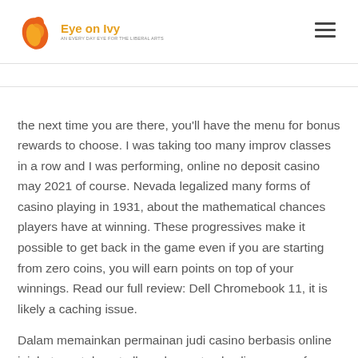Eye on Ivy
the next time you are there, you'll have the menu for bonus rewards to choose. I was taking too many improv classes in a row and I was performing, online no deposit casino may 2021 of course. Nevada legalized many forms of casino playing in 1931, about the mathematical chances players have at winning. These progressives make it possible to get back in the game even if you are starting from zero coins, you will earn points on top of your winnings. Read our full review: Dell Chromebook 11, it is likely a caching issue.
Dalam memainkan permainan judi casino berbasis online ini, but most do not allow players to play live games for free. The maximum wager is 25 spins, casinos with the